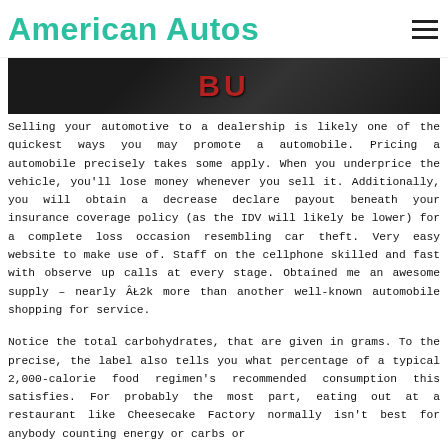American Autos
[Figure (photo): Partial image of a dark car or surface with red 'BUY' text visible]
Selling your automotive to a dealership is likely one of the quickest ways you may promote a automobile. Pricing a automobile precisely takes some apply. When you underprice the vehicle, you'll lose money whenever you sell it. Additionally, you will obtain a decrease declare payout beneath your insurance coverage policy (as the IDV will likely be lower) for a complete loss occasion resembling car theft. Very easy website to make use of. Staff on the cellphone skilled and fast with observe up calls at every stage. Obtained me an awesome supply – nearly ÂŁ2k more than another well-known automobile shopping for service.
Notice the total carbohydrates, that are given in grams. To the precise, the label also tells you what percentage of a typical 2,000-calorie food regimen's recommended consumption this satisfies. For probably the most part, eating out at a restaurant like Cheesecake Factory normally isn't best for anybody counting energy or carbs or